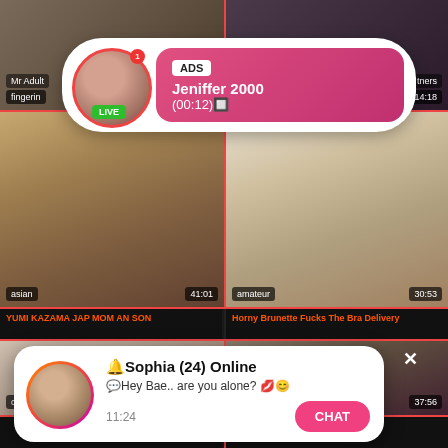[Figure (screenshot): Adult video thumbnail top-left with tag 'fingerin' and site label 'Mr Adult']
[Figure (screenshot): Adult video thumbnail top-right with duration 14:18 and label 'tners']
[Figure (infographic): Ad popup overlay: avatar with LIVE badge, ADS label, name 'Jeniffer 2000', time '(00:12)']
[Figure (screenshot): Adult video thumbnail mid-left: asian tag, duration 41:01]
[Figure (screenshot): Adult video thumbnail mid-right: amateur tag, duration 30:53]
YUMI KAZAMA JAP MOM AN SON
Horny Brunette Fucks The Bra Delivery
[Figure (screenshot): Adult video thumbnail bottom-left: cumshot tag, label 'Moms Teach Sex', duration 10:58]
[Figure (screenshot): Adult video thumbnail bottom-right: anal tag, duration 37:56]
[Figure (infographic): Chat popup overlay: avatar with gradient border, name 'Sophia (24) Online', message 'Hey Bae.. are you alone?', time 11:24, CHAT button]